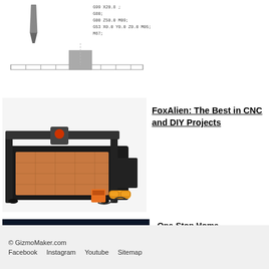[Figure (engineering-diagram): CNC G-code diagram with drill bit illustration at top left, G-code text (G99 X20.8, G80, G00 Z50.0 M09, G53 X0.0 Y0.0 Z0.0 M05, M67), and a ruler/scale at bottom with a gray square marker]
[Figure (photo): FoxAlien CNC router machine with black frame and orange/copper work bed, accompanied by accessories including a red controller box, orange safety glasses, and cable]
FoxAlien: The Best in CNC and DIY Projects
[Figure (photo): Exterior night photo of Lowe's Home Improvement Warehouse store in Modesto, CA with illuminated signage]
One-Stop Home Improvement at Lowe's in Modesto, CA
© GizmoMaker.com
Facebook   Instagram   Youtube   Sitemap